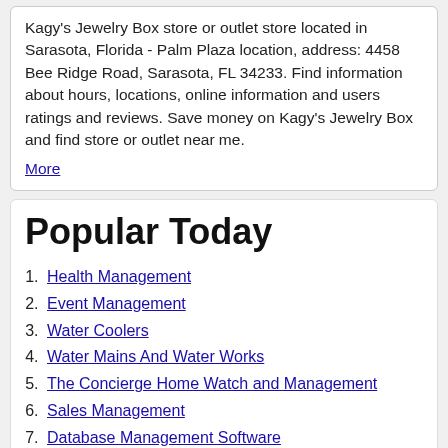Kagy's Jewelry Box store or outlet store located in Sarasota, Florida - Palm Plaza location, address: 4458 Bee Ridge Road, Sarasota, FL 34233. Find information about hours, locations, online information and users ratings and reviews. Save money on Kagy's Jewelry Box and find store or outlet near me. More
Popular Today
Health Management
Event Management
Water Coolers
Water Mains And Water Works
The Concierge Home Watch and Management
Sales Management
Database Management Software
Management Services
Project Management